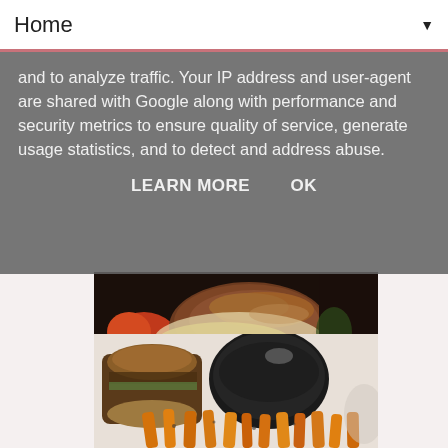Home ▼
and to analyze traffic. Your IP address and user-agent are shared with Google along with performance and security metrics to ensure quality of service, generate usage statistics, and to detect and address abuse.
LEARN MORE    OK
[Figure (photo): Close-up photo of a burger with melted cheese and tomatoes]
[Figure (photo): Photo of a burger sandwich with sweet potato fries and a dark bowl]